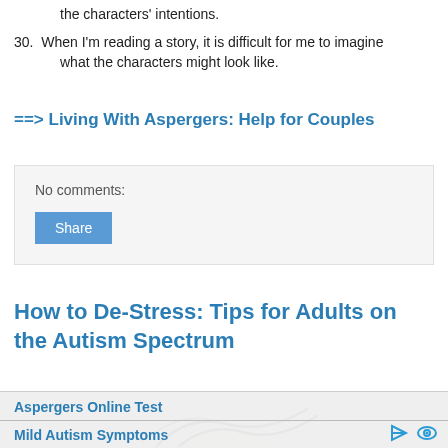the characters' intentions.
30. When I'm reading a story, it is difficult for me to imagine what the characters might look like.
==> Living With Aspergers: Help for Couples
No comments:
Share
How to De-Stress: Tips for Adults on the Autism Spectrum
[Figure (illustration): Partial illustration showing abstract curved lines suggesting a running or stressed figure, partially visible at bottom of page.]
Aspergers Online Test
Mild Autism Symptoms